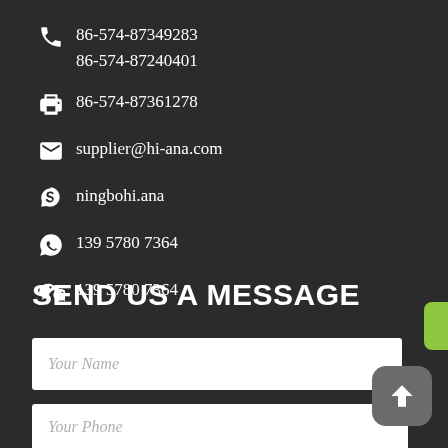86-574-87349283
86-574-87240401
86-574-87361278
supplier@hi-ana.com
ningbohi.ana
139 5780 7364
139 5780 7364
SEND US A MESSAGE
Your Name
Your Email
Your Phone